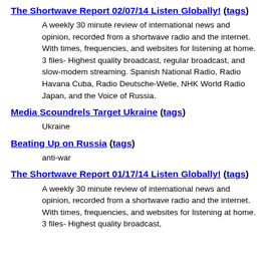The Shortwave Report 02/07/14 Listen Globally! (tags)
A weekly 30 minute review of international news and opinion, recorded from a shortwave radio and the internet. With times, frequencies, and websites for listening at home. 3 files- Highest quality broadcast, regular broadcast, and slow-modem streaming. Spanish National Radio, Radio Havana Cuba, Radio Deutsche-Welle, NHK World Radio Japan, and the Voice of Russia.
Media Scoundrels Target Ukraine (tags)
Ukraine
Beating Up on Russia (tags)
anti-war
The Shortwave Report 01/17/14 Listen Globally! (tags)
A weekly 30 minute review of international news and opinion, recorded from a shortwave radio and the internet. With times, frequencies, and websites for listening at home. 3 files- Highest quality broadcast,